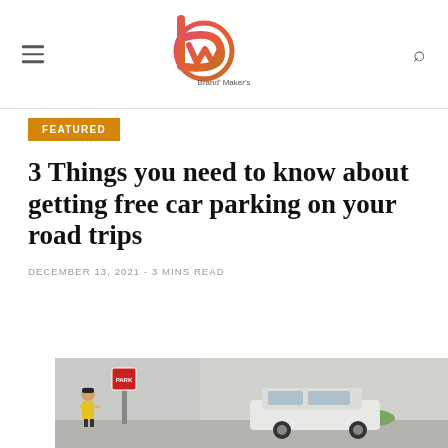Brand Maker's [logo]
FEATURED
3 Things you need to know about getting free car parking on your road trips
DECEMBER 13, 2021 - 3 MINS READ
[Figure (photo): A parking lot scene with a person in a yellow safety vest standing near a red parking sign, a white SUV parked in the background, green bushes and a concrete building wall visible.]